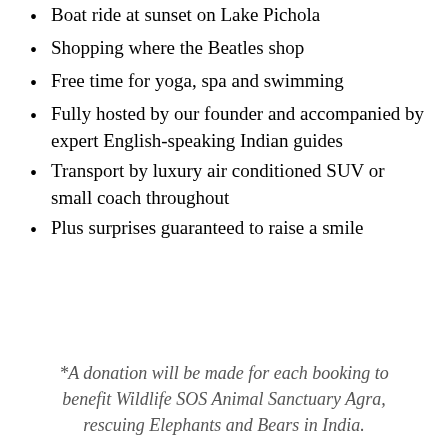Boat ride at sunset on Lake Pichola
Shopping where the Beatles shop
Free time for yoga, spa and swimming
Fully hosted by our founder and accompanied by expert English-speaking Indian guides
Transport by luxury air conditioned SUV or small coach throughout
Plus surprises guaranteed to raise a smile
*A donation will be made for each booking to benefit Wildlife SOS Animal Sanctuary Agra, rescuing Elephants and Bears in India.